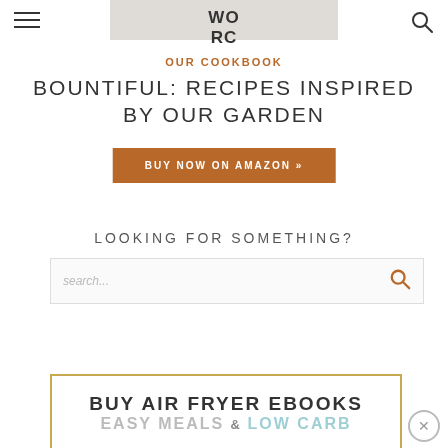WO RC
OUR COOKBOOK
BOUNTIFUL: RECIPES INSPIRED BY OUR GARDEN
BUY NOW ON AMAZON »
LOOKING FOR SOMETHING?
search...
BUY AIR FRYER EBOOKS EASY MEALS & LOW CARB